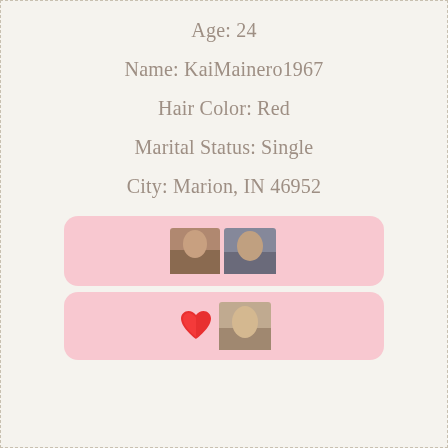Age: 24
Name: KaiMainero1967
Hair Color: Red
Marital Status: Single
City: Marion, IN 46952
[Figure (photo): Pink rounded box containing two small portrait photos side by side]
[Figure (photo): Pink rounded box containing a red heart emoji and a small portrait photo]